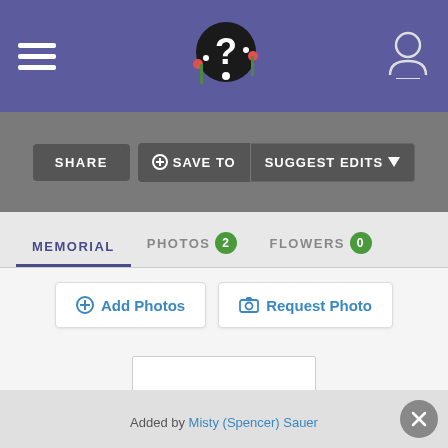[Figure (screenshot): Purple navigation bar with hamburger menu icon on left, question mark logo in center, and user account icon on right]
[Figure (screenshot): Gray action bar with SHARE button, SAVE TO button with plus icon, SUGGEST EDITS button with dropdown arrow]
[Figure (screenshot): Tab navigation showing MEMORIAL (active, underlined), PHOTOS with green badge showing 2, FLOWERS with green badge showing 0]
[Figure (screenshot): Photo action buttons: Add Photos with plus icon, Request Photo with camera icon]
[Figure (screenshot): White photo placeholder rectangle]
Added by Misty (Spencer) Sauer
[Figure (screenshot): Gray close button with X in bottom right corner]